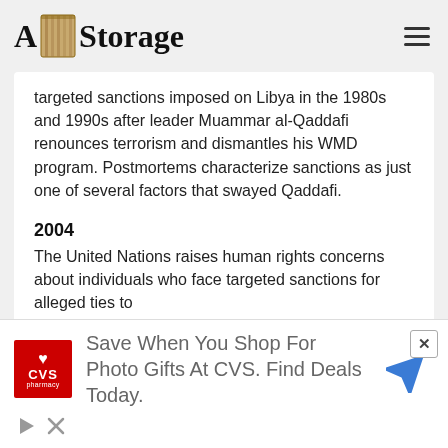A&I Storage
targeted sanctions imposed on Libya in the 1980s and 1990s after leader Muammar al-Qaddafi renounces terrorism and dismantles his WMD program. Postmortems characterize sanctions as just one of several factors that swayed Qaddafi.
2004
The United Nations raises human rights concerns about individuals who face targeted sanctions for alleged ties to
[Figure (other): CVS Pharmacy advertisement banner: Save When You Shop For Photo Gifts At CVS. Find Deals Today.]